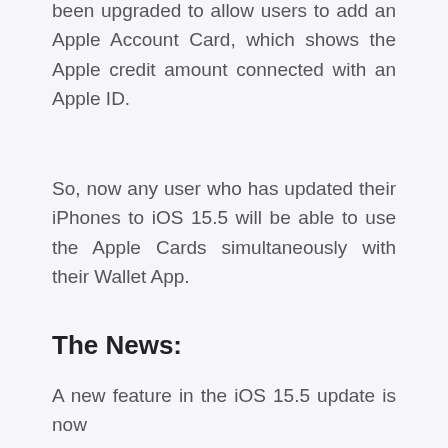been upgraded to allow users to add an Apple Account Card, which shows the Apple credit amount connected with an Apple ID.
So, now any user who has updated their iPhones to iOS 15.5 will be able to use the Apple Cards simultaneously with their Wallet App.
The News:
A new feature in the iOS 15.5 update is now